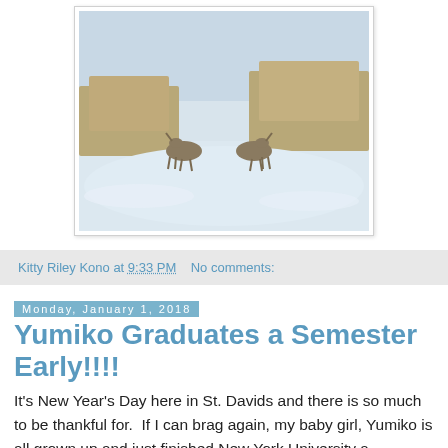[Figure (photo): Two deer butting heads in a snowy field with dry brown grasses and brush in the background. Winter scene with snow-covered ground.]
Kitty Riley Kono at 9:33 PM   No comments:
Monday, January 1, 2018
Yumiko Graduates a Semester Early!!!!
It's New Year's Day here in St. Davids and there is so much to be thankful for.  If I can brag again, my baby girl, Yumiko is all grown up and just finished New York University a semester early cum laude and I am so darn proud of her!  And I know her Dad is too.  We went out to Valley Forge last